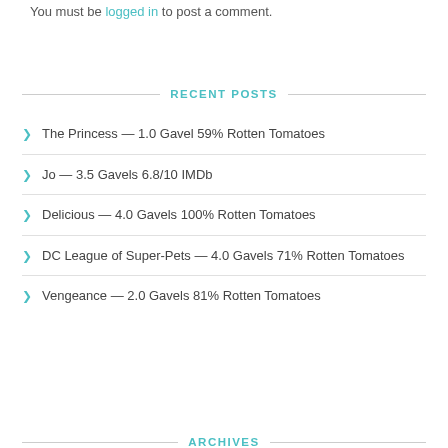You must be logged in to post a comment.
RECENT POSTS
The Princess — 1.0 Gavel 59% Rotten Tomatoes
Jo — 3.5 Gavels 6.8/10 IMDb
Delicious — 4.0 Gavels 100% Rotten Tomatoes
DC League of Super-Pets — 4.0 Gavels 71% Rotten Tomatoes
Vengeance — 2.0 Gavels 81% Rotten Tomatoes
ARCHIVES